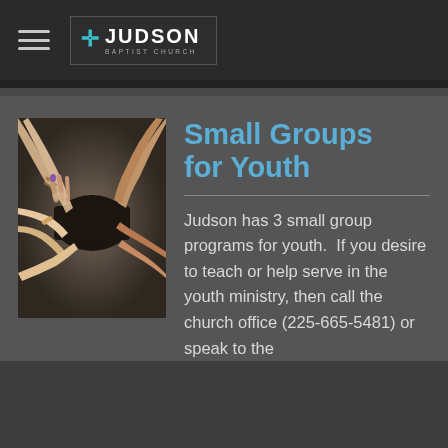≡ JUDSON BAPTIST CHURCH
[Figure (photo): Multiple hands coming together in a circle, holding what appears to be a dark object, symbolizing unity and small group community]
Small Groups for Youth
Judson has 3 small group programs for youth.  If you desire to teach or help serve in the youth ministry, then call the church office (225-665-5481) or speak to the